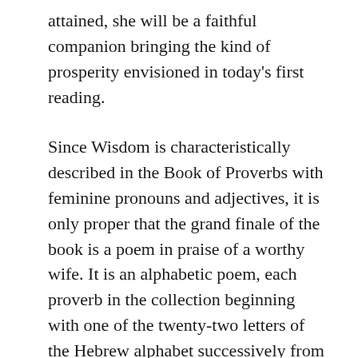attained, she will be a faithful companion bringing the kind of prosperity envisioned in today's first reading.
Since Wisdom is characteristically described in the Book of Proverbs with feminine pronouns and adjectives, it is only proper that the grand finale of the book is a poem in praise of a worthy wife. It is an alphabetic poem, each proverb in the collection beginning with one of the twenty-two letters of the Hebrew alphabet successively from aleph to Shin. The poem begins, “A perfect wife, who can find her? She is far beyond the price of pearls.” Her husband confides in her to his great advantage. Some of the descriptions may not fit the experience of the younger set